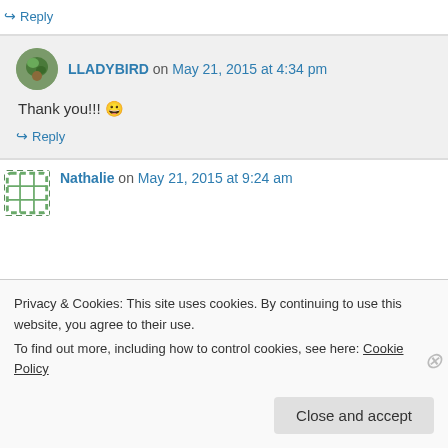↪ Reply
LLADYBIRD on May 21, 2015 at 4:34 pm
Thank you!!! 😀
↪ Reply
Nathalie on May 21, 2015 at 9:24 am
Privacy & Cookies: This site uses cookies. By continuing to use this website, you agree to their use.
To find out more, including how to control cookies, see here: Cookie Policy
Close and accept